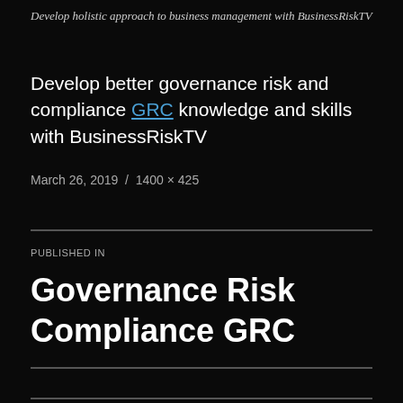Develop holistic approach to business management with BusinessRiskTV
Develop better governance risk and compliance GRC knowledge and skills with BusinessRiskTV
March 26, 2019 / 1400 × 425
PUBLISHED IN
Governance Risk Compliance GRC